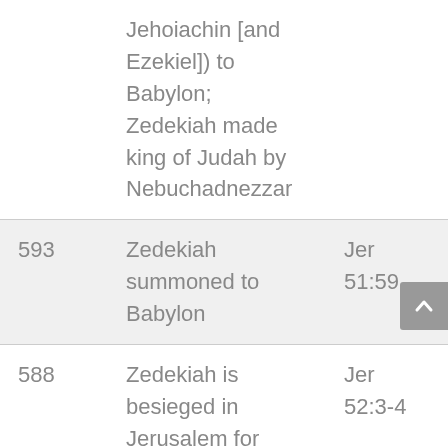| Year | Event | Reference |
| --- | --- | --- |
|  | Jehoiachin [and Ezekiel]) to Babylon; Zedekiah made king of Judah by Nebuchadnezzar |  |
| 593 | Zedekiah summoned to Babylon | Jer 51:59 |
| 588 | Zedekiah is besieged in Jerusalem for treachery | Jer 52:3-4 |